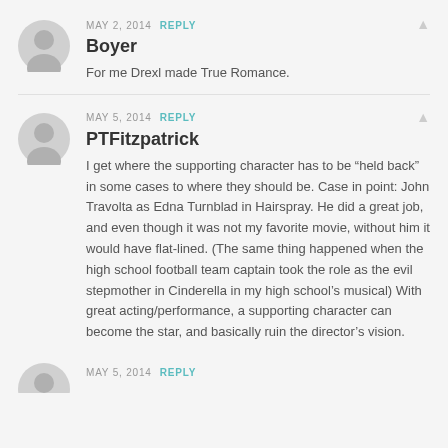[Figure (illustration): Gray circular user avatar icon for Boyer comment]
MAY 2, 2014 REPLY
Boyer
For me Drexl made True Romance.
[Figure (illustration): Gray circular user avatar icon for PTFitzpatrick comment]
MAY 5, 2014 REPLY
PTFitzpatrick
I get where the supporting character has to be “held back” in some cases to where they should be. Case in point: John Travolta as Edna Turnblad in Hairspray. He did a great job, and even though it was not my favorite movie, without him it would have flat-lined. (The same thing happened when the high school football team captain took the role as the evil stepmother in Cinderella in my high school’s musical) With great acting/performance, a supporting character can become the star, and basically ruin the director’s vision.
[Figure (illustration): Gray circular user avatar icon partially visible at bottom]
MAY 5, 2014 REPLY